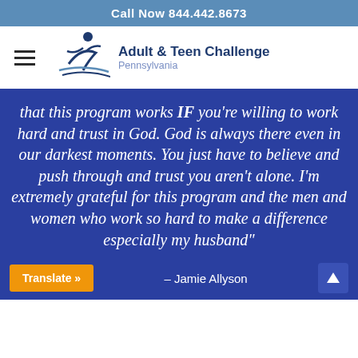Call Now 844.442.8673
[Figure (logo): Adult & Teen Challenge Pennsylvania logo with stylized figure and text]
that this program works IF you’re willing to work hard and trust in God. God is always there even in our darkest moments. You just have to believe and push through and trust you aren’t alone. I’m extremely grateful for this program and the men and women who work so hard to make a difference especially my husband”
– Jamie Allyson